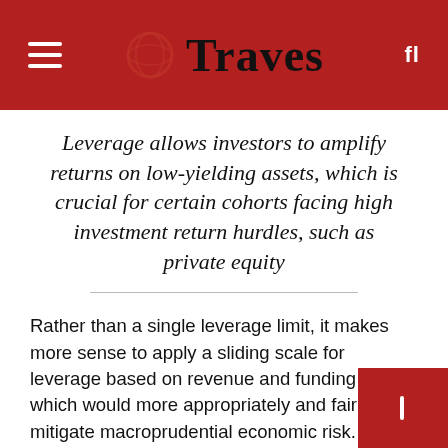Traves
Leverage allows investors to amplify returns on low-yielding assets, which is crucial for certain cohorts facing high investment return hurdles, such as private equity
Rather than a single leverage limit, it makes more sense to apply a sliding scale for leverage based on revenue and funding tenors, which would more appropriately and fairly mitigate macroprudential economic risk.
Ultimately, liquidity risk is determined by the market in which an asset is traded and the speed of